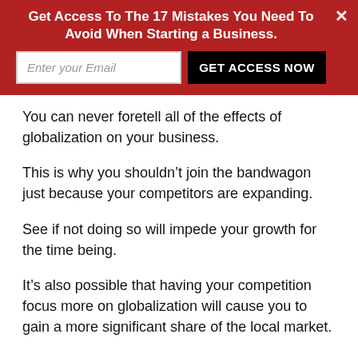Get Access To The 17 Mistakes You Need To Avoid When Starting a Business.
You can never foretell all of the effects of globalization on your business.
This is why you shouldn't join the bandwagon just because your competitors are expanding.
See if not doing so will impede your growth for the time being.
It's also possible that having your competition focus more on globalization will cause you to gain a more significant share of the local market.